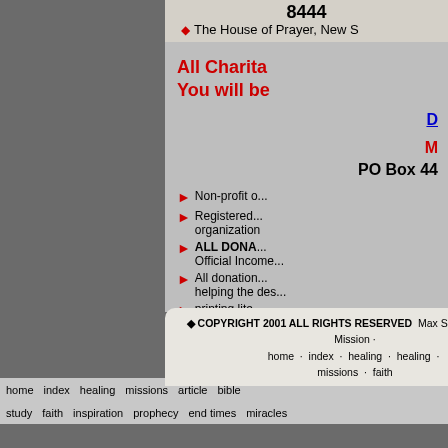8444
The House of Prayer, New S
All Charita... You will be...
Donate link (D...)
M... PO Box 44...
Non-profit o...
Registered... organization
ALL DONA... Official Income...
All donation... helping the des...
printing lite... the gospel of J...
COPYRIGHT 2001 ALL RIGHTS RESERVED  Max Solbrekken World Mission · home · index · healing · healing · missions · faith
home  index  healing  missions  article  bible  study  faith  inspiration  prophecy  end times  miracles